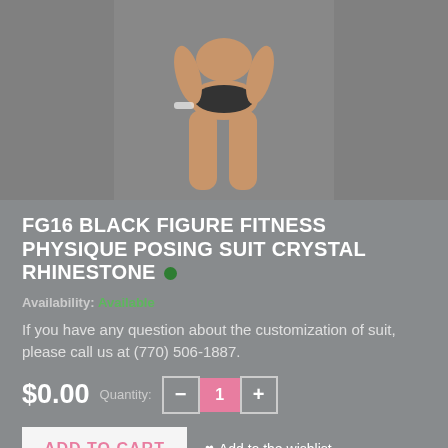[Figure (photo): Product photo of a female fitness/physique competitor wearing a black crystal rhinestone posing suit, shown from torso down, against a gray background.]
FG16 BLACK FIGURE FITNESS PHYSIQUE POSING SUIT CRYSTAL RHINESTONE
Availability: Available
If you have any question about the customization of suit, please call us at (770) 506-1887.
$0.00  Quantity: — 1 +
ADD TO CART   ♥ Add to the wishlist